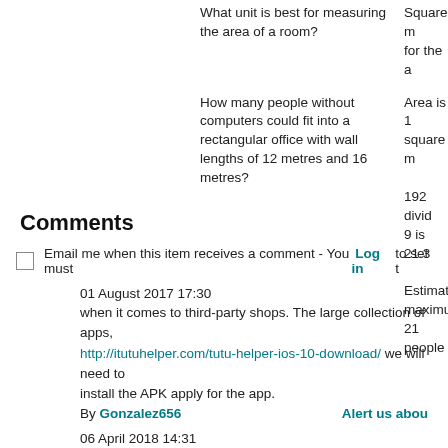What unit is best for measuring the area of a room?
Square m for the a
How many people without computers could fit into a rectangular office with wall lengths of 12 metres and 16 metres?
Area is 1 square m
192 divid 9 is 21.3
Estimate maximum 21 people
Comments
Email me when this item receives a comment - You must Log in to set t
01 August 2017 17:30
when it comes to third-party shops. The large collection of apps,
http://itutuhelper.com/tutu-helper-ios-10-download/ we will need to install the APK apply for the app.
By Gonzalez656    Alert us abou
06 April 2018 14:31
20180406 xiaoou http://www.birkenstocksandal.us.com/
http://www.michaelkorsoutletme.us.com/
http://www.guccioutletonlinestores.us.com/ http://www.coachcan